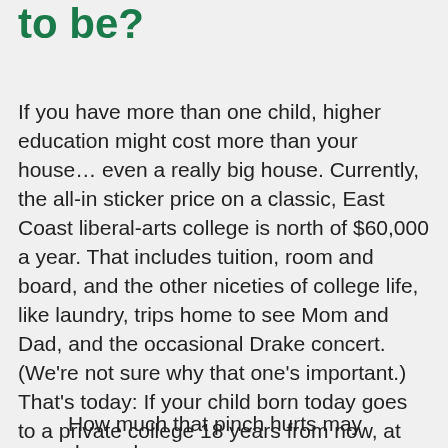to be?
If you have more than one child, higher education might cost more than your house… even a really big house. Currently, the all-in sticker price on a classic, East Coast liberal-arts college is north of $60,000 a year. That includes tuition, room and board, and the other niceties of college life, like laundry, trips home to see Mom and Dad, and the occasional Drake concert. (We're not sure why that one's important.) That's today: If your child born today goes to a private college 18 years from now, at current growth rates, that cost would rise to $150,000 per year. For most of us, it's unlikely income growth will keep pace with the accelerating cost of a college education.
How much that pinch hurts may depend on